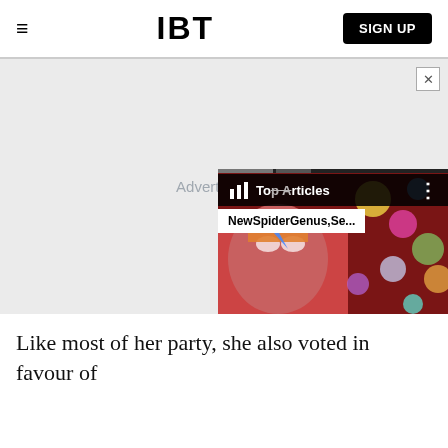IBT | SIGN UP
[Figure (screenshot): Advertisement placeholder area with a widget showing Top Articles panel with 'NewSpiderGenus,Se...' subtitle and a colorful illustrated face background with spheres]
Like most of her party, she also voted in favour of